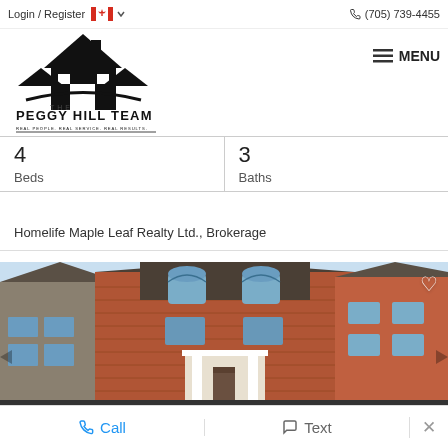Login / Register  (705) 739-4455  MENU
[Figure (logo): The Peggy Hill Team logo with house icon and tagline REAL PEOPLE. REAL SERVICE. REAL RESULTS.]
| 4
Beds | 3
Baths |
Homelife Maple Leaf Realty Ltd., Brokerage
[Figure (photo): Exterior photo of a two-storey brick house with white columns and arched windows]
Call  Text  ×